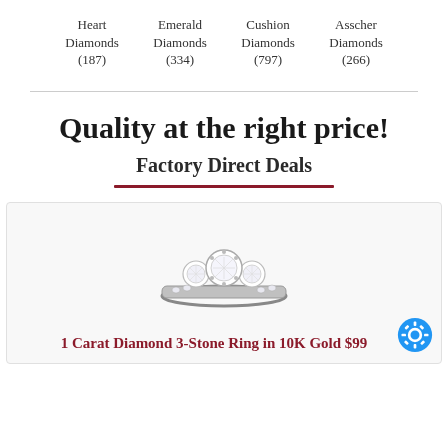Heart Diamonds (187)
Emerald Diamonds (334)
Cushion Diamonds (797)
Asscher Diamonds (266)
Quality at the right price!
Factory Direct Deals
[Figure (photo): A diamond 3-stone ring in white/platinum gold setting]
1 Carat Diamond 3-Stone Ring in 10K Gold $99